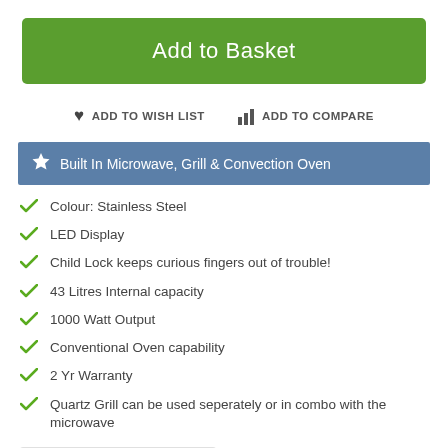Add to Basket
ADD TO WISH LIST   ADD TO COMPARE
Built In Microwave, Grill & Convection Oven
Colour: Stainless Steel
LED Display
Child Lock keeps curious fingers out of trouble!
43 Litres Internal capacity
1000 Watt Output
Conventional Oven capability
2 Yr Warranty
Quartz Grill can be used seperately or in combo with the microwave
84 Reevoo